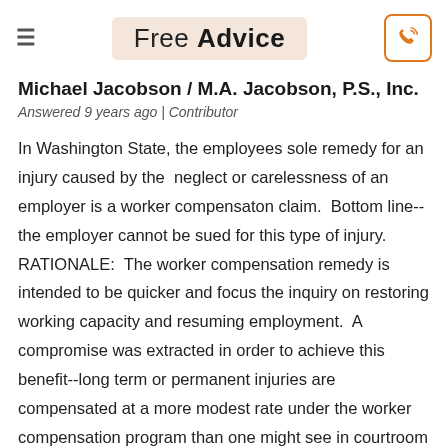Free Advice
Michael Jacobson / M.A. Jacobson, P.S., Inc.
Answered 9 years ago | Contributor
In Washington State, the employees sole remedy for an injury caused by the neglect or carelessness of an employer is a worker compensaton claim. Bottom line-- the employer cannot be sued for this type of injury. RATIONALE: The worker compensation remedy is intended to be quicker and focus the inquiry on restoring working capacity and resuming employment. A compromise was extracted in order to achieve this benefit--long term or permanent injuries are compensated at a more modest rate under the worker compensation program than one might see in courtroom litigation